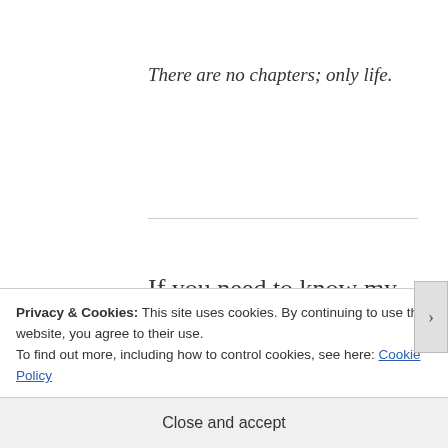There are no chapters; only life.
If you need to know my name, you can call me Isaac. But, at this point in time, we are beyond names. Attaching a name to anything is the same as attaching death. Death is what stalks the country, taking you and you and you. You who
Privacy & Cookies: This site uses cookies. By continuing to use this website, you agree to their use.
To find out more, including how to control cookies, see here: Cookie Policy
Close and accept